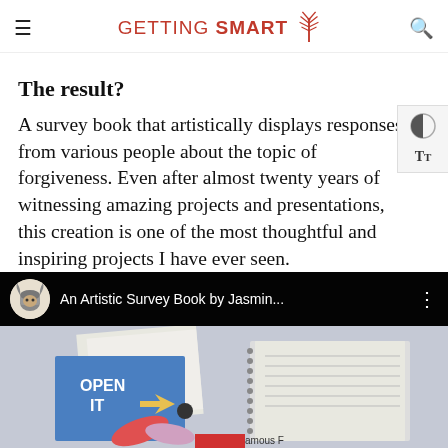GETTING SMART
The result?
A survey book that artistically displays responses from various people about the topic of forgiveness. Even after almost twenty years of witnessing amazing projects and presentations, this creation is one of the most thoughtful and inspiring projects I have ever seen.
[Figure (screenshot): YouTube video thumbnail showing an artistic survey book titled 'An Artistic Survey Book by Jasmin...' with channel avatar of a viking mascot. The thumbnail shows a book with 'OPEN IT' text on blue cover and other artistic pages spread out on a table.]